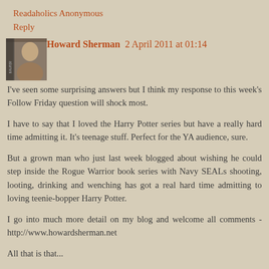Readaholics Anonymous
Reply
Howard Sherman 2 April 2011 at 01:14
I've seen some surprising answers but I think my response to this week's Follow Friday question will shock most.
I have to say that I loved the Harry Potter series but have a really hard time admitting it. It's teenage stuff. Perfect for the YA audience, sure.
But a grown man who just last week blogged about wishing he could step inside the Rogue Warrior book series with Navy SEALs shooting, looting, drinking and wenching has got a real hard time admitting to loving teenie-bopper Harry Potter.
I go into much more detail on my blog and welcome all comments - http://www.howardsherman.net
All that is that...